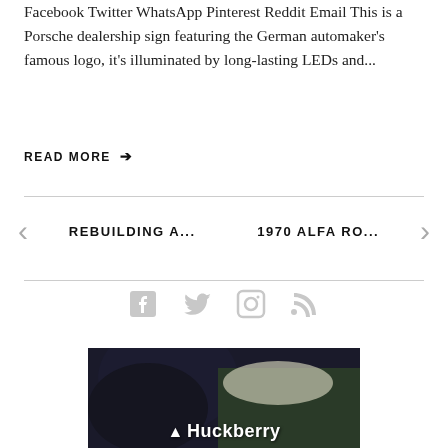Facebook Twitter WhatsApp Pinterest Reddit Email This is a Porsche dealership sign featuring the German automaker's famous logo, it's illuminated by long-lasting LEDs and...
READ MORE →
REBUILDING A...    1970 ALFA RO...
[Figure (screenshot): Social media icons: Facebook, Twitter, Instagram, RSS feed - displayed in light gray]
[Figure (photo): Huckberry advertisement showing a person in a leather jacket on a motorcycle with the Huckberry logo in white text]